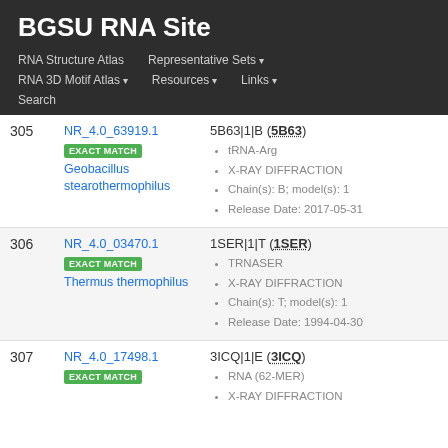BGSU RNA Site
RNA Structure Atlas | Representative Sets | RNA 3D Motif Atlas | Resources | Links | Search
| # | ID / Match / Organism | PDB Entry / Details |
| --- | --- | --- |
| 305 | NR_4.0_63919.1 EXACT MATCH Geobacillus stearothermophilus | 5B63|1|B (5B63) • tRNA-Arg • X-RAY DIFFRACTION • Chain(s): B; model(s): 1 • Release Date: 2017-05-31 |
| 306 | NR_4.0_03470.1 EXACT MATCH Thermus thermophilus | 1SER|1|T (1SER) • TRNASER • X-RAY DIFFRACTION • Chain(s): T; model(s): 1 • Release Date: 1994-04-30 |
| 307 | NR_4.0_17498.1 EXACT MATCH | 3ICQ|1|E (3ICQ) • RNA (62-MER) • X-RAY DIFFRACTION |